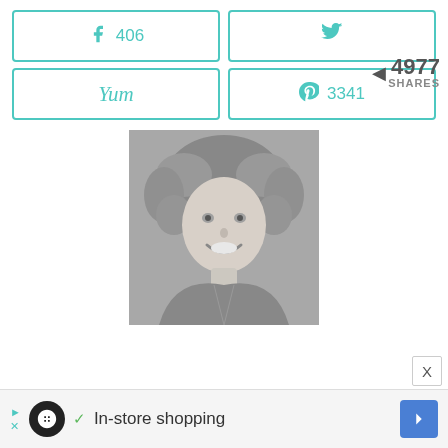[Figure (infographic): Social share buttons: Facebook 406, Twitter, Yum, Pinterest 3341. Share counter showing 4977 SHARES with arrow.]
[Figure (photo): Black and white headshot photo of a smiling woman with curly short hair, wearing a patterned top.]
In-store shopping
X